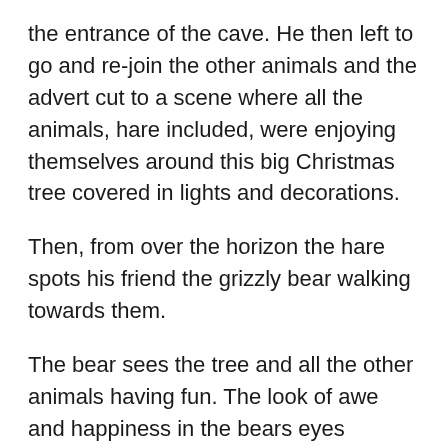the entrance of the cave. He then left to go and re-join the other animals and the advert cut to a scene where all the animals, hare included, were enjoying themselves around this big Christmas tree covered in lights and decorations.
Then, from over the horizon the hare spots his friend the grizzly bear walking towards them.
The bear sees the tree and all the other animals having fun. The look of awe and happiness in the bears eyes reminded me of that feeling I would get as a kid when I came down the stairs on Christmas morning to see the tree bursting with presents, decorations and the sledge tracks leading back all the way to the fireplace that my dad had drawn into the carpet with his fingers. I felt excited for him!